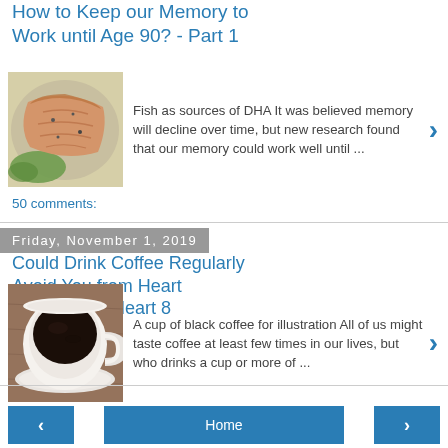How to Keep our Memory to Work until Age 90? - Part 1
[Figure (photo): Photo of a cooked fish fillet with garnish]
Fish as sources of DHA It was believed memory will decline over time, but new research found that our memory could work well until ...
50 comments:
Friday, November 1, 2019
Could Drink Coffee Regularly Avoid You from Heart Diseases? - Heart 8
[Figure (photo): Photo of a cup of black coffee on a saucer]
A cup of black coffee for illustration All of us might taste coffee at least few times in our lives, but who drinks a cup or more of ...
44 comments:
< | Home | >